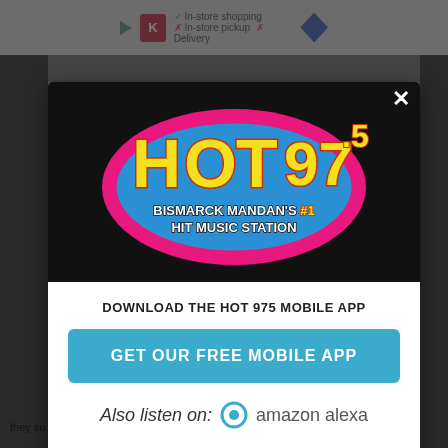[Figure (screenshot): Screenshot of a webpage with a modal popup for Hot 97.5 radio station mobile app download. Background shows dimmed webpage content. Modal has black header with Hot 97.5 logo (pink oval, blue background, yellow text), close X button, white body with 'DOWNLOAD THE HOT 975 MOBILE APP' text, teal 'GET OUR FREE MOBILE APP' button, and 'Also listen on: amazon alexa' text. Bottom shows advertisement bar with store info.]
DOWNLOAD THE HOT 975 MOBILE APP
GET OUR FREE MOBILE APP
Also listen on: amazon alexa
they su... c?